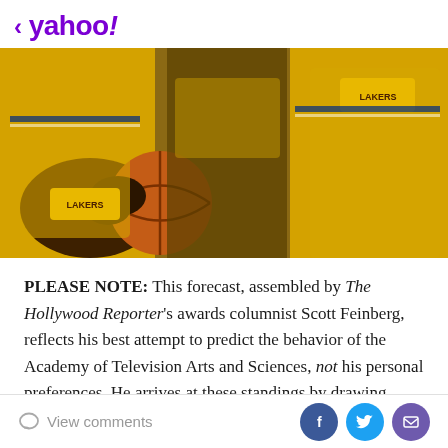< yahoo!
[Figure (photo): People wearing yellow Lakers basketball jerseys, one holding a basketball. Close-up shot showing torsos and arms of multiple people in gold Lakers uniforms.]
PLEASE NOTE: This forecast, assembled by The Hollywood Reporter's awards columnist Scott Feinberg, reflects his best attempt to predict the behavior of the Academy of Television Arts and Sciences, not his personal preferences. He arrives at these standings by drawing upon consultations with voters and strategists, analysis of marketing and campaigns, results of awards
View comments